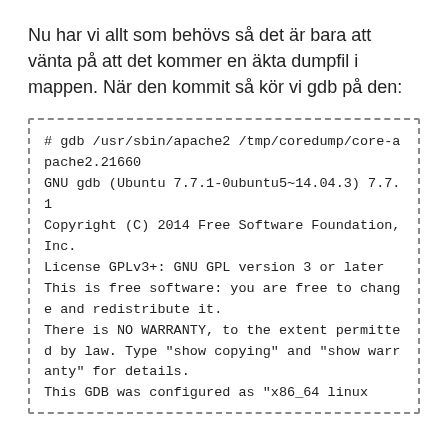Nu har vi allt som behövs så det är bara att vänta på att det kommer en äkta dumpfil i mappen. När den kommit så kör vi gdb på den:
# gdb /usr/sbin/apache2 /tmp/coredump/core-apache2.21660
GNU gdb (Ubuntu 7.7.1-0ubuntu5~14.04.3) 7.7.1
Copyright (C) 2014 Free Software Foundation, Inc.
License GPLv3+: GNU GPL version 3 or later
This is free software: you are free to change and redistribute it.
There is NO WARRANTY, to the extent permitted by law. Type "show copying" and "show warranty" for details.
This GDB was configured as "x86_64 linux